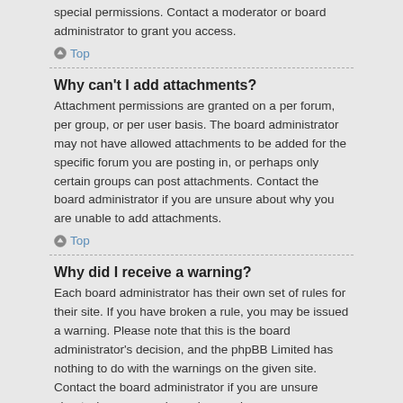special permissions. Contact a moderator or board administrator to grant you access.
Top
Why can't I add attachments?
Attachment permissions are granted on a per forum, per group, or per user basis. The board administrator may not have allowed attachments to be added for the specific forum you are posting in, or perhaps only certain groups can post attachments. Contact the board administrator if you are unsure about why you are unable to add attachments.
Top
Why did I receive a warning?
Each board administrator has their own set of rules for their site. If you have broken a rule, you may be issued a warning. Please note that this is the board administrator's decision, and the phpBB Limited has nothing to do with the warnings on the given site. Contact the board administrator if you are unsure about why you were issued a warning.
Top